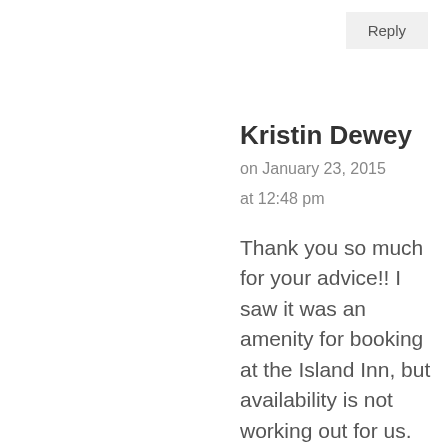Reply
Kristin Dewey
on January 23, 2015
at 12:48 pm
Thank you so much for your advice!! I saw it was an amenity for booking at the Island Inn, but availability is not working out for us. Last time I was at a beach was when I lived in Vista, CA, and I know that it can become kind of stinky cleaning those shells! Do